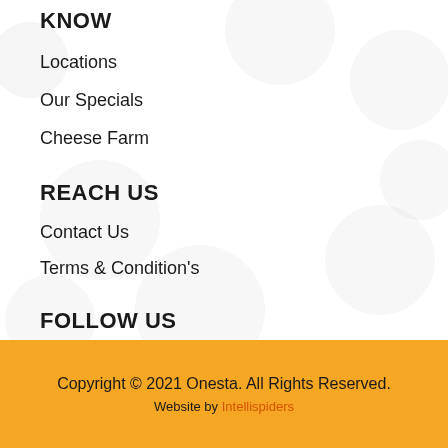KNOW
Locations
Our Specials
Cheese Farm
REACH US
Contact Us
Terms & Condition's
FOLLOW US
[Figure (infographic): Social media icons: Facebook, Instagram, Twitter, YouTube]
Copyright © 2021 Onesta. All Rights Reserved.
Website by Intellispiders